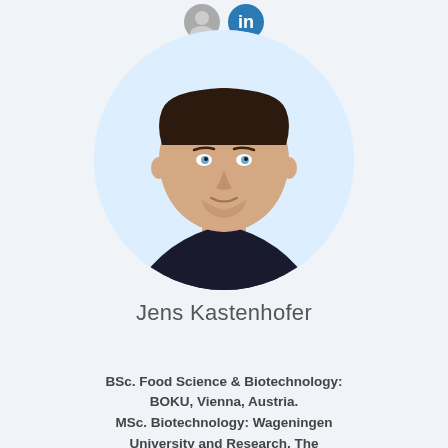[Figure (photo): Two small circular icon buttons (grey and blue) at the top of the profile card]
[Figure (photo): Circular profile photo of Jens Kastenhofer, a young man with short brown hair wearing a dark navy t-shirt, photographed against a light blue-white background]
Jens Kastenhofer
BSc. Food Science & Biotechnology: BOKU, Vienna, Austria. MSc. Biotechnology: Wageningen University and Research, The